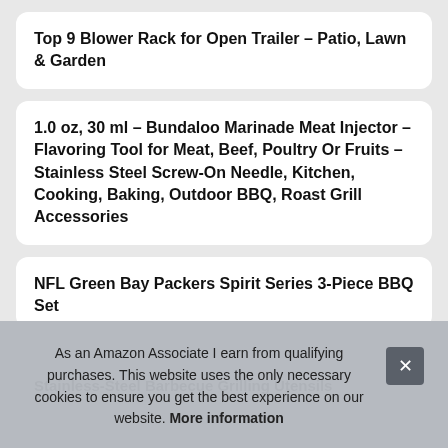Top 9 Blower Rack for Open Trailer – Patio, Lawn & Garden
1.0 oz, 30 ml – Bundaloo Marinade Meat Injector – Flavoring Tool for Meat, Beef, Poultry Or Fruits – Stainless Steel Screw-On Needle, Kitchen, Cooking, Baking, Outdoor BBQ, Roast Grill Accessories
NFL Green Bay Packers Spirit Series 3-Piece BBQ Set
Stainless-Steel Barbecue Grilling Utensils
As an Amazon Associate I earn from qualifying purchases. This website uses the only necessary cookies to ensure you get the best experience on our website. More information